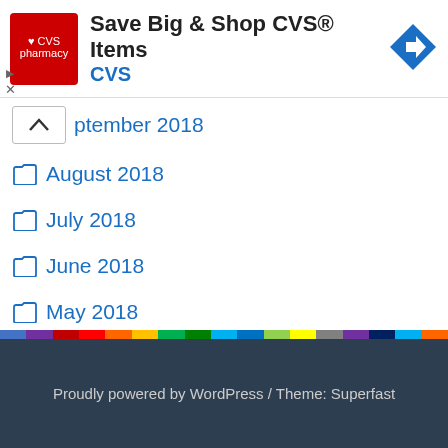[Figure (screenshot): CVS Pharmacy advertisement banner with logo, title 'Save Big & Shop CVS® Items', subtitle 'CVS', and blue direction arrow icon]
September 2018
August 2018
July 2018
June 2018
May 2018
April 2018
Proudly powered by WordPress / Theme: Superfast